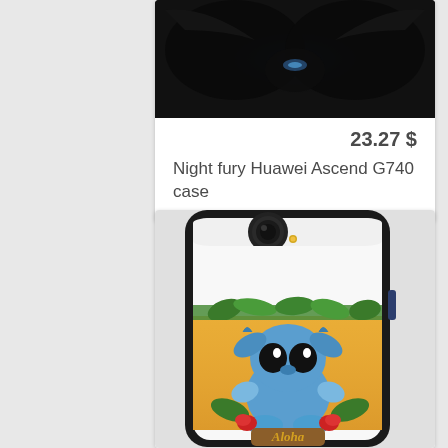[Figure (photo): Phone case product image showing Night Fury dragon (How to Train Your Dragon) design on dark background]
23.27 $
Night fury Huawei Ascend G740 case
[Figure (photo): Phone case product image showing Stitch (Lilo & Stitch) with 'Aloha' text on a tropical background, displayed on a white phone case]